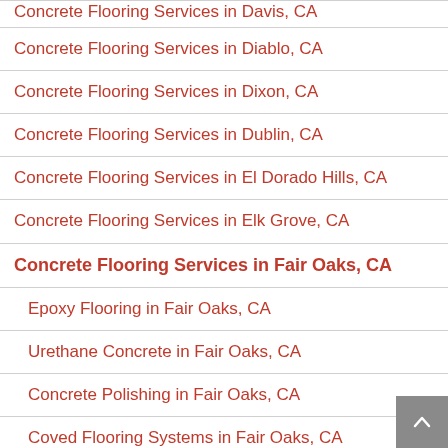Concrete Flooring Services in Davis, CA
Concrete Flooring Services in Diablo, CA
Concrete Flooring Services in Dixon, CA
Concrete Flooring Services in Dublin, CA
Concrete Flooring Services in El Dorado Hills, CA
Concrete Flooring Services in Elk Grove, CA
Concrete Flooring Services in Fair Oaks, CA
Epoxy Flooring in Fair Oaks, CA
Urethane Concrete in Fair Oaks, CA
Concrete Polishing in Fair Oaks, CA
Coved Flooring Systems in Fair Oaks, CA
Concrete Overlays in Fair Oaks, CA